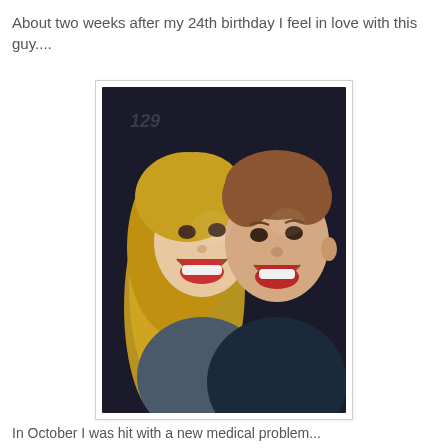About two weeks after my 24th birthday I feel in love with this guy....
[Figure (photo): A smiling couple taking a selfie. A woman with long blonde hair leans her head against a man with short brown hair. Both are wearing dark jackets. The number 129 is visible in the background. Photo is in a white bordered frame.]
In October I was hit with a new medical problem...